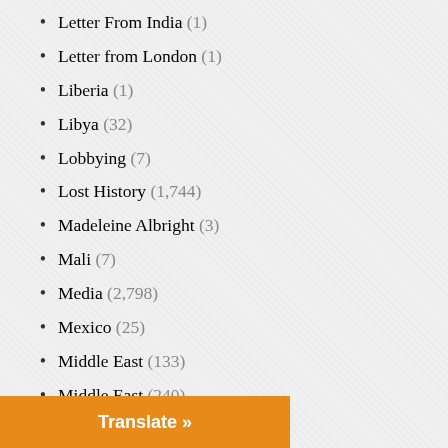Letter From India (1)
Letter from London (1)
Liberia (1)
Libya (32)
Lobbying (7)
Lost History (1,744)
Madeleine Albright (3)
Mali (7)
Media (2,798)
Mexico (25)
Middle East (133)
Middle East (240)
Mike Pompeo (10)
Militarism (444)
Military (98)
Military Industry (47)
Moldova (1)
Montenegro (1)
Translate »